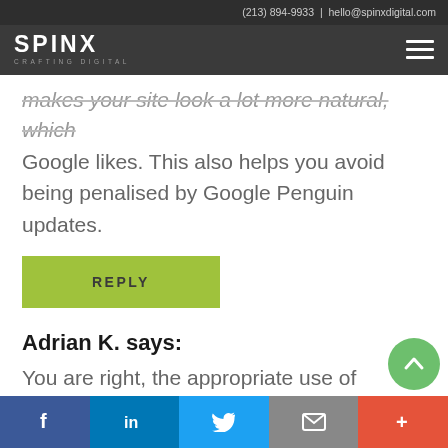(213) 894-9933 | hello@spinxdigital.com
[Figure (logo): SPINX Crafting Digital logo with hamburger menu icon on dark background]
makes your site look a lot more natural, which Google likes. This also helps you avoid being penalised by Google Penguin updates.
REPLY
Adrian K. says:
You are right, the appropriate use of nofollow links can boost SEO results. That's why most digital marketing agencies have strategies in place to
Facebook | LinkedIn | Twitter | Email | More